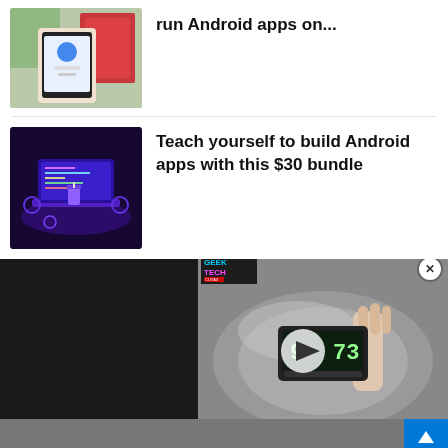[Figure (screenshot): Thumbnail of hand holding a smartphone showing an app screen]
run Android apps on...
[Figure (illustration): Thumbnail of purple-themed coding laptop illustration]
Teach yourself to build Android apps with this $30 bundle
[Figure (screenshot): Video player overlay showing GeekTech logo and a thermometer/meter reading 9 73, with play button, on dark background]
[Figure (advertisement): Firefly festival advertisement banner featuring Halsey and My Chemical Romance, September 22-25, The Woodlands and Dover DE]